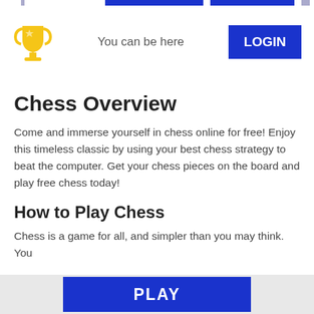You can be here | LOGIN
Chess Overview
Come and immerse yourself in chess online for free! Enjoy this timeless classic by using your best chess strategy to beat the computer. Get your chess pieces on the board and play free chess today!
How to Play Chess
Chess is a game for all, and simpler than you may think. You
PLAY